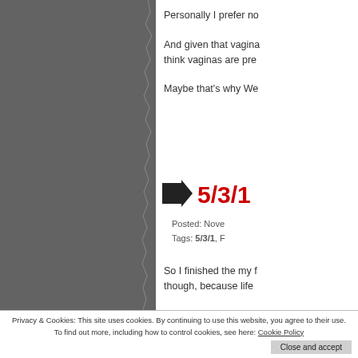[Figure (photo): Grey torn-edge image panel on the left side of the page]
Personally I prefer no
And given that vagina... think vaginas are pre
Maybe that's why We
5/3/1
Posted: Nove
Tags: 5/3/1, F
So I finished the my f though, because life
Privacy & Cookies: This site uses cookies. By continuing to use this website, you agree to their use.
To find out more, including how to control cookies, see here: Cookie Policy
Close and accept